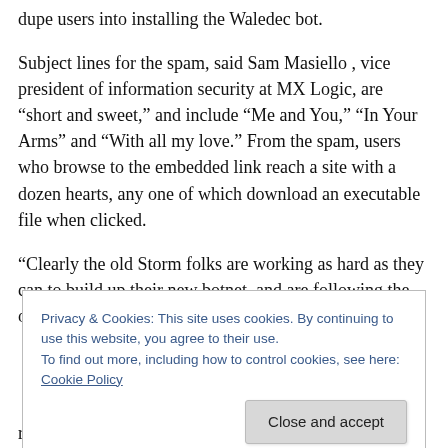dupe users into installing the Waledec bot.
Subject lines for the spam, said Sam Masiello , vice president of information security at MX Logic, are “short and sweet,” and include “Me and You,” “In Your Arms” and “With all my love.” From the spam, users who browse to the embedded link reach a site with a dozen hearts, any one of which download an executable file when clicked.
“Clearly the old Storm folks are working as hard as they can to build up their new botnet, and are following the old tried-and-true methods of centering their social
Privacy & Cookies: This site uses cookies. By continuing to use this website, you agree to their use.
To find out more, including how to control cookies, see here: Cookie Policy
recycled,” Masiello said in an interview today.